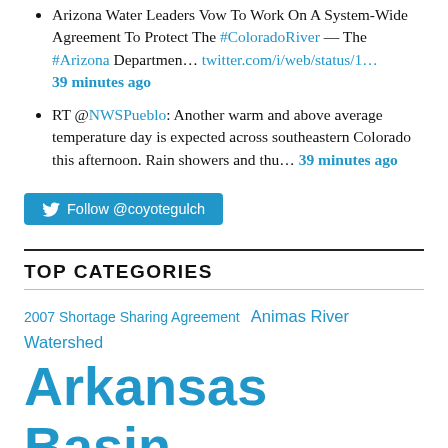Arizona Water Leaders Vow To Work On A System-Wide Agreement To Protect The #ColoradoRiver — The #Arizona Departmen… twitter.com/i/web/status/1… 39 minutes ago
RT @NWSPueblo: Another warm and above average temperature day is expected across southeastern Colorado this afternoon. Rain showers and thu… 39 minutes ago
Follow @coyotegulch
TOP CATEGORIES
2007 Shortage Sharing Agreement  Animas River Watershed  Arkansas Basin  Big Thompson Watershed  Blue River Watershed  Bureau of Reclamation  Colorado-Big Thompson Project  Colorado River Basin  Colorado River Compact  Colorado Water Plan  Conservation  CWCB  Denver Basin Aquifer System